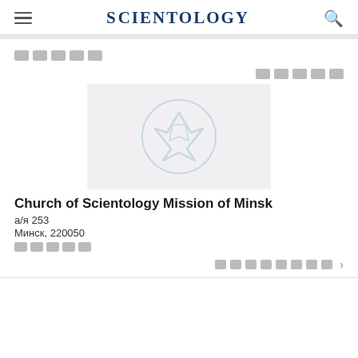SCIENTOLOGY
█████
█████
[Figure (logo): Scientology cross/logo watermark in light blue on gray background]
Church of Scientology Mission of Minsk
а/я 253
Минск, 220050
█████
████████ ›